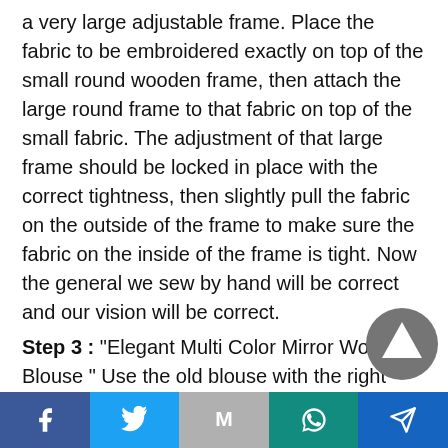a very large adjustable frame. Place the fabric to be embroidered exactly on top of the small round wooden frame, then attach the large round frame to that fabric on top of the small fabric. The adjustment of that large frame should be locked in place with the correct tightness, then slightly pull the fabric on the outside of the frame to make sure the fabric on the inside of the frame is tight. Now the general we sew by hand will be correct and our vision will be correct.
Step 3 : “Elegant Multi Color Mirror Work Blouse ” Use the old blouse with the right body size and check the sizes of the blouse that will be made into the new design.
[Figure (illustration): Circular dark grey button with white upward arrow/send icon]
Social sharing bar with Facebook, Twitter, Gmail, WhatsApp, and Send icons